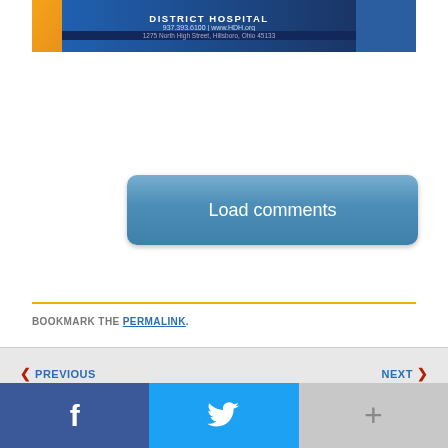[Figure (photo): Highland District Hospital banner with logo, phone number 937.393.6100, website www.HDH.org, and address 1275 North High Street, Hillsboro, Ohio 45133]
[Figure (screenshot): Blue rounded button with text 'Load comments']
BOOKMARK THE PERMALINK.
◀ PREVIOUS   NEXT ▶
[Figure (screenshot): Weather widget showing Hillsboro, OH, 67°, 6:42 am EDT with cloudy/partly cloudy image]
[Figure (screenshot): Social sharing bar with Facebook (f), Twitter (bird), and more (+) buttons]